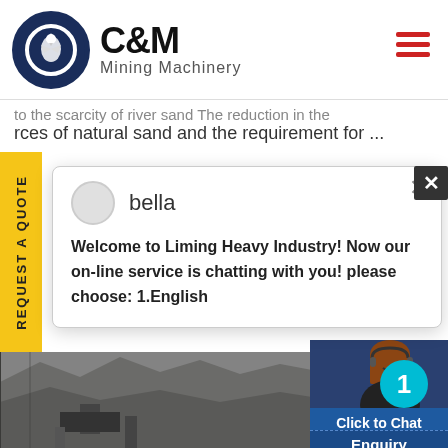[Figure (logo): C&M Mining Machinery logo with eagle emblem in circular badge and company name]
to the scarcity of river sand The reduction in the rces of natural sand and the requirement for ...
REQUEST A QUOTE
bella
Welcome to Liming Heavy Industry! Now our on-line service is chatting with you! please choose: 1.English
[Figure (photo): Mining quarry with rock face and machinery]
[Figure (photo): Customer service representative wearing headset, smiling]
Click to Chat
Enquiry